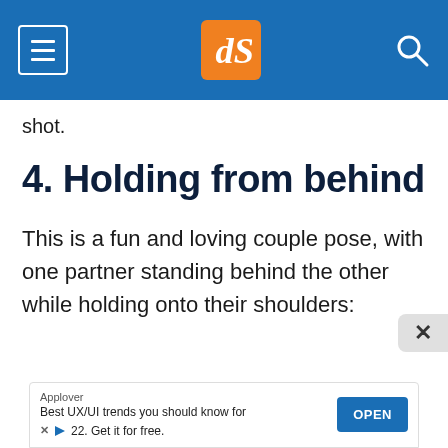dPS website header with hamburger menu, logo, and search icon
shot.
4. Holding from behind
This is a fun and loving couple pose, with one partner standing behind the other while holding onto their shoulders: